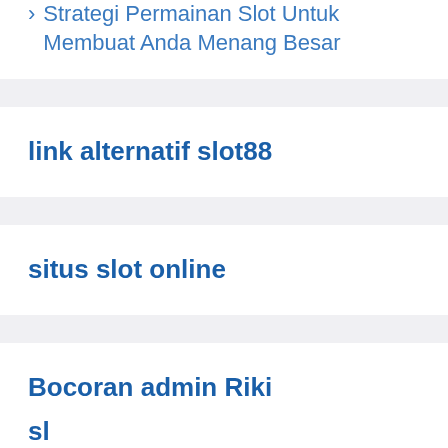Strategi Permainan Slot Untuk Membuat Anda Menang Besar
link alternatif slot88
situs slot online
Bocoran admin Riki